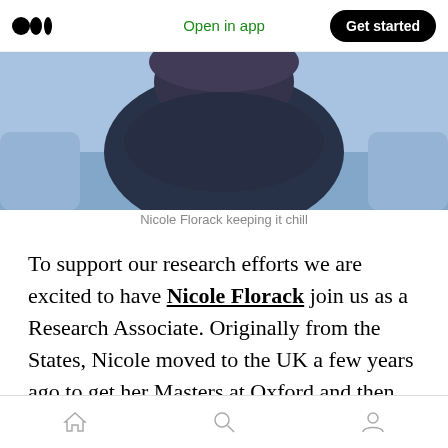Open in app  Get started
[Figure (photo): Person wearing dark winter scarf and coat with blue-tinted lighting, upper body and face partially visible]
Nicole Florack keeping it chill
To support our research efforts we are excited to have Nicole Florack join us as a Research Associate. Originally from the States, Nicole moved to the UK a few years ago to get her Masters at Oxford and then joined Morgan Stanley as a Research Analyst. Her passion for sustainability led her to proactively look for roles
Home  Search  Profile